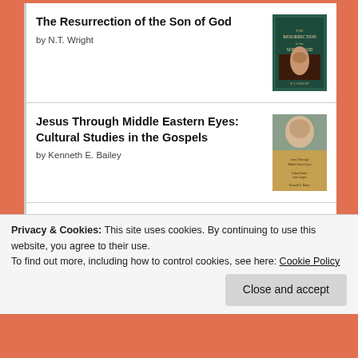The Resurrection of the Son of God by N.T. Wright
[Figure (illustration): Book cover of The Resurrection of the Son of God]
Jesus Through Middle Eastern Eyes: Cultural Studies in the Gospels by Kenneth E. Bailey
[Figure (illustration): Book cover of Jesus Through Middle Eastern Eyes]
King's Cross: The Story of the World in the Life of Jesus by Timothy J. Keller
[Figure (illustration): Book cover of King's Cross by Timothy Keller]
Privacy & Cookies: This site uses cookies. By continuing to use this website, you agree to their use.
To find out more, including how to control cookies, see here: Cookie Policy
Close and accept